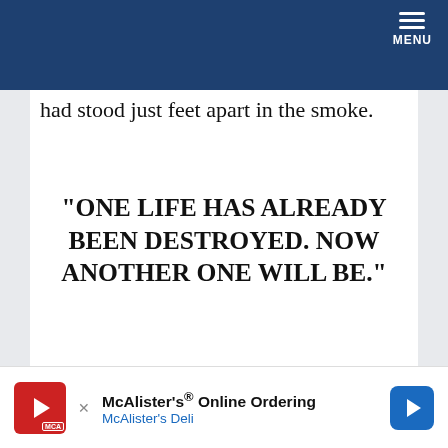MENU
had stood just feet apart in the smoke.
“ONE LIFE HAS ALREADY BEEN DESTROYED. NOW ANOTHER ONE WILL BE.”
When Daniel’s trial began this past April, prosecutors unveiled crime-scene photographs—a gruesome gallery that summoned the ghost of Linda Beckwitt, the mother who had raised and educated
McAlister’s® Online Ordering McAlister’s Deli